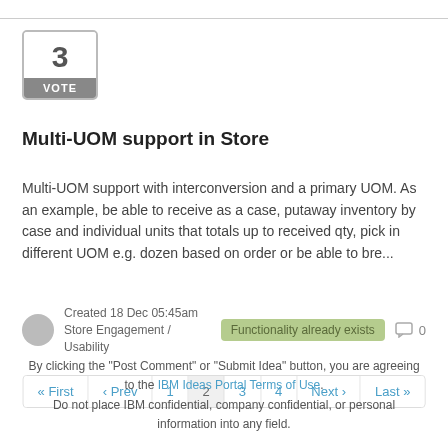[Figure (other): Vote box showing number 3 with a grey VOTE label button]
Multi-UOM support in Store
Multi-UOM support with interconversion and a primary UOM. As an example, be able to receive as a case, putaway inventory by case and individual units that totals up to received qty, pick in different UOM e.g. dozen based on order or be able to bre...
Created 18 Dec 05:45am
Store Engagement / Usability
Functionality already exists
0
« First ‹ Prev 1 2 3 4 Next › Last »
By clicking the "Post Comment" or "Submit Idea" button, you are agreeing to the IBM Ideas Portal Terms of Use. Do not place IBM confidential, company confidential, or personal information into any field.